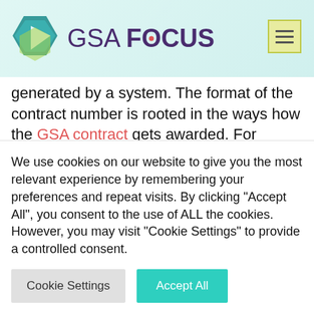[Figure (logo): GSA Focus logo with hexagon graphic and text 'GSA FOCUS' in purple, plus hamburger menu icon top right]
generated by a system. The format of the contract number is rooted in the ways how the GSA contract gets awarded. For instance, the GSA Schedule holders who received their contract this past year have new contract numbers. They may be surprised to have different GSA contract numbers because of the format changes in compliance with the modified
We use cookies on our website to give you the most relevant experience by remembering your preferences and repeat visits. By clicking "Accept All", you consent to the use of ALL the cookies. However, you may visit "Cookie Settings" to provide a controlled consent.